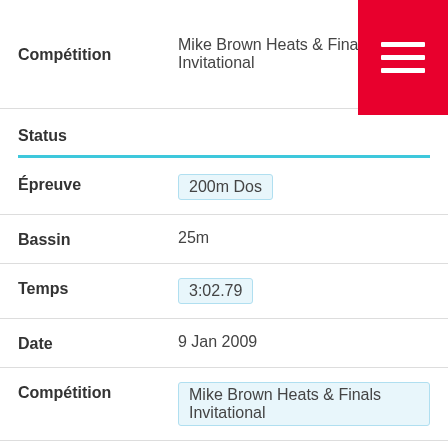Compétition: Mike Brown Heats & Finals Invitational
Status
Épreuve: 200m Dos
Bassin: 25m
Temps: 3:02.79
Date: 9 Jan 2009
Compétition: Mike Brown Heats & Finals Invitational
Status
Épreuve: 400m 4 pages